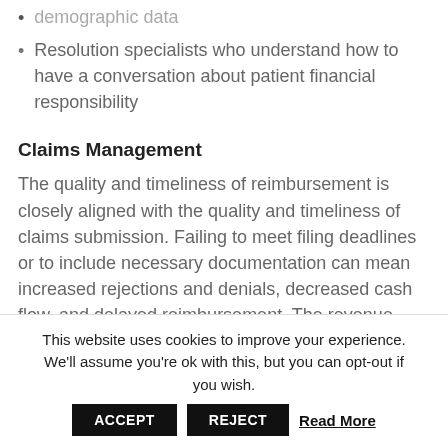demographic data
Resolution specialists who understand how to have a conversation about patient financial responsibility
Claims Management
The quality and timeliness of reimbursement is closely aligned with the quality and timeliness of claims submission. Failing to meet filing deadlines or to include necessary documentation can mean increased rejections and denials, decreased cash flow, and delayed reimbursement. The revenue cycle of the future has no place for outdated, manual claims management
This website uses cookies to improve your experience. We'll assume you're ok with this, but you can opt-out if you wish.
ACCEPT   REJECT   Read More